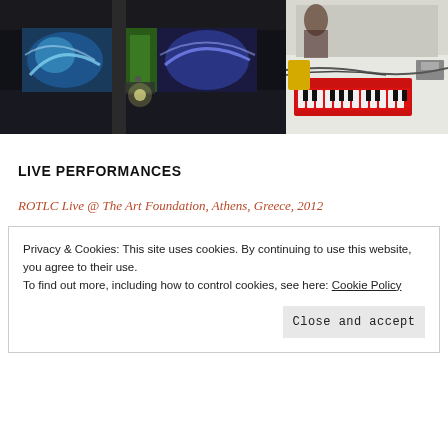[Figure (photo): Left photo: Dark indoor space with colorful projected screens showing abstract imagery, performers/equipment visible.]
[Figure (photo): Right photo: Table with electronic equipment including a red keyboard/synthesizer, cables, and other instruments; people browsing in background.]
LIVE PERFORMANCES
ROTLC Live @ The Art Foundation, Athens, Greece, 2012
Privacy & Cookies: This site uses cookies. By continuing to use this website, you agree to their use.
To find out more, including how to control cookies, see here: Cookie Policy
Close and accept